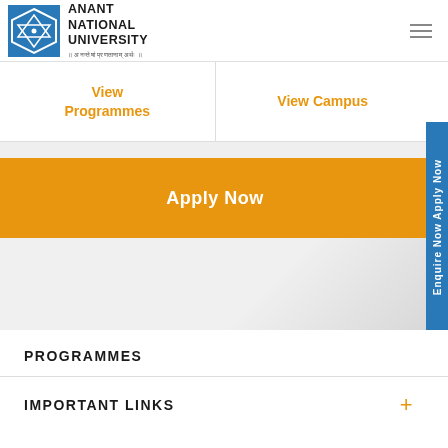[Figure (logo): Anant National University logo - blue geometric diamond shape icon with university name]
View Programmes
View Campus
Apply Now
Enquire Now Apply Now
PROGRAMMES
IMPORTANT LINKS